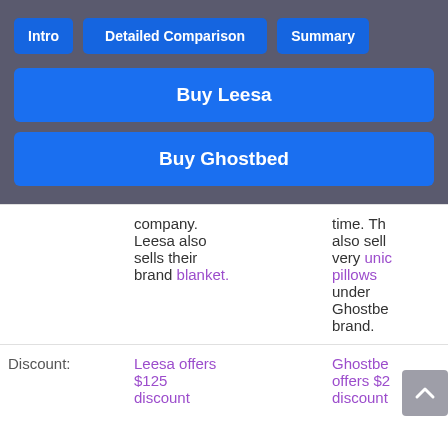Intro | Detailed Comparison | Summary
Buy Leesa
Buy Ghostbed
|  | Leesa | Ghostbed |
| --- | --- | --- |
|  | company. Leesa also sells their brand blanket. | time. The also sell very unique pillows under Ghostbed brand. |
| Discount: | Leesa offers $125 discount | Ghostbed offers $2 discount |